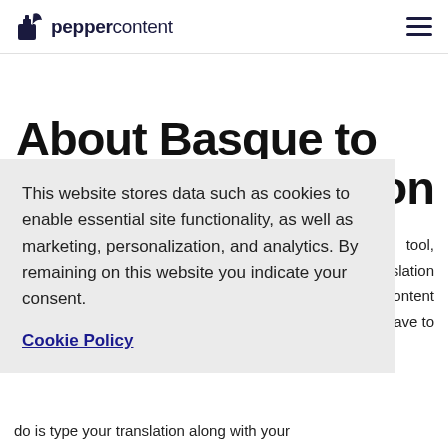peppercontent
About Basque to … ation
This website stores data such as cookies to enable essential site functionality, as well as marketing, personalization, and analytics. By remaining on this website you indicate your consent.
Cookie Policy
… tool, … lslation … ite content … ou have to do is type your translation along with your